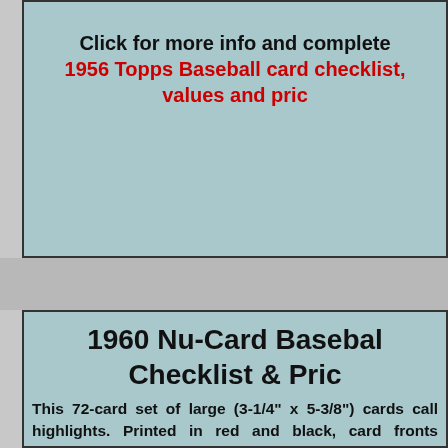Click for more info and complete
1956 Topps Baseball card checklist, values and prices
1960 Nu-Card Baseball Checklist & Prices
This 72-card set of large (3-1/4" x 5-3/8") cards call highlights. Printed in red and black, card fronts resemb
Backs featured trivia question (with answer) sending yo
Rare cards #1-18 can be found blank-backed with jus